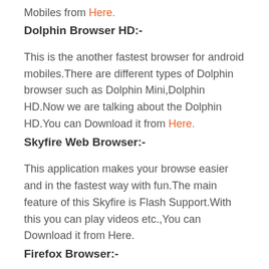Mobiles from Here.
Dolphin Browser HD:-
This is the another fastest browser for android mobiles.There are different types of Dolphin browser such as Dolphin Mini,Dolphin HD.Now we are talking about the Dolphin HD.You can Download it from Here.
Skyfire Web Browser:-
This application makes your browse easier and in the fastest way with fun.The main feature of this Skyfire is Flash Support.With this you can play videos etc.,You can Download it from Here.
Firefox Browser:-